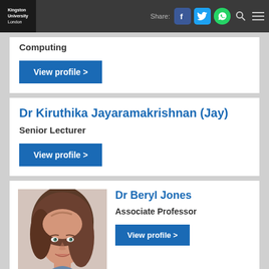Kingston University London | Share: [Facebook] [Twitter] [WhatsApp] [Search] [Menu]
Computing
View profile >
Dr Kiruthika Jayaramakrishnan (Jay)
Senior Lecturer
View profile >
[Figure (photo): Headshot photo of Dr Beryl Jones, a woman with brown hair, smiling]
Dr Beryl Jones
Associate Professor
View profile >